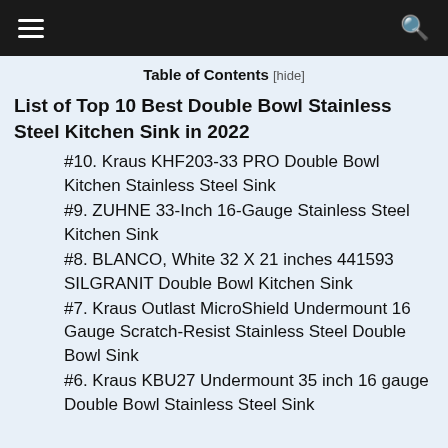≡  [hamburger menu]   [search icon]
Table of Contents [hide]
List of Top 10 Best Double Bowl Stainless Steel Kitchen Sink in 2022
#10. Kraus KHF203-33 PRO Double Bowl Kitchen Stainless Steel Sink
#9. ZUHNE 33-Inch 16-Gauge Stainless Steel Kitchen Sink
#8. BLANCO, White 32 X 21 inches 441593 SILGRANIT Double Bowl Kitchen Sink
#7. Kraus Outlast MicroShield Undermount 16 Gauge Scratch-Resist Stainless Steel Double Bowl Sink
#6. Kraus KBU27 Undermount 35 inch 16 gauge Double Bowl Stainless Steel Sink